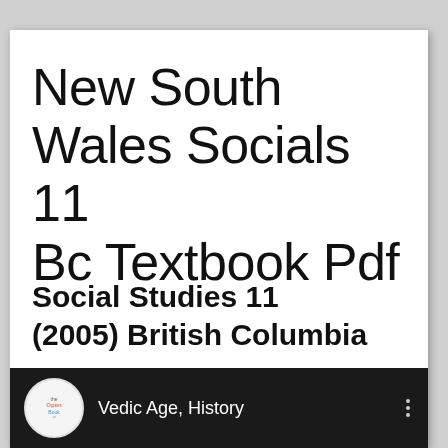New South Wales Socials 11 Bc Textbook Pdf
Social Studies 11 (2005) British Columbia
[Figure (screenshot): Dark video bar with circular logo for theOpenBook.in on the left, text 'Vedic Age, History' in white, and a three-dot menu icon on the right]